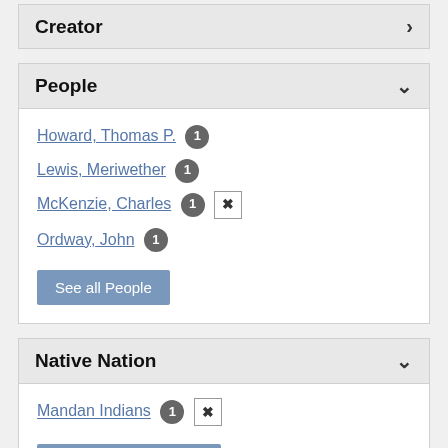Creator
People
Howard, Thomas P. 1
Lewis, Meriwether 1
McKenzie, Charles 1 [remove]
Ordway, John 1
See all People
Native Nation
Mandan Indians 1 [remove]
See all Native Nations